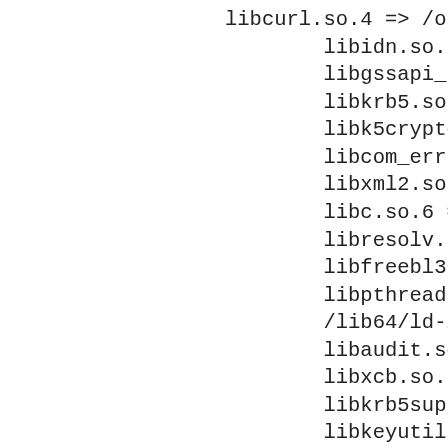libcurl.so.4 => /opt/curl331/lib/li
	libidn.so.11 => /lib64/libidn.so.11
	libgssapi_krb5.so.2 => /lib64/libgs
	libkrb5.so.3 => /lib64/libkrb5.so.3
	libk5crypto.so.3 => /lib64/libk5cry
	libcom_err.so.2 => /lib64/libcom_er
	libxml2.so.2 => /opt/xml2/lib/libxm
	libc.so.6 => /lib64/libc.so.6 (0x00
	libresolv.so.2 => /lib64/libresolv.
	libfreebl3.so => /lib64/libfreebl3.
	libpthread.so.0 => /lib64/libpthrea
	/lib64/ld-linux-x86-64.so.2 (0x0000
	libaudit.so.1 => /lib64/libaudit.so
	libxcb.so.1 => /usr/lib64/libxcb.so
	libkrb5support.so.0 => /lib64/libkr
	libkeyutils.so.1 => /lib64/libkeyut
	libXau.so.6 => /usr/lib64/libXau.so
	libselinux.so.1 => /lib64/libselinu